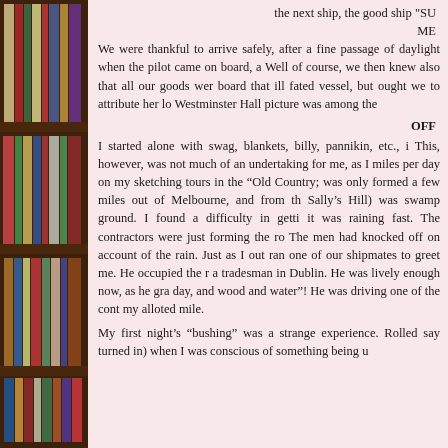[Figure (photo): Photograph of bookshelves filled with colorful books, visible on the left side of the page]
the next ship, the good ship "SU
 ME
We were thankful to arrive safely, after a fine passage of daylight when the pilot came on board, a Well of course, we then knew also that all our goods wer board that ill fated vessel, but ought we to attribute her lo Westminster Hall picture was among the
OFF
I started alone with swag, blankets, billy, pannikin, etc., i This, however, was not much of an undertaking for me, as I miles per day on my sketching tours in the “Old Country; was only formed a few miles out of Melbourne, and from th Sally’s Hill) was swamp ground. I found a difficulty in getti it was raining fast. The contractors were just forming the ro The men had knocked off on account of the rain. Just as I out ran one of our shipmates to greet me. He occupied the r a tradesman in Dublin. He was lively enough now, as he gra day, and wood and water”! He was driving one of the cont my alloted mile.
My first night’s “bushing” was a strange experience. Rolled say turned in) when I was conscious of something being u